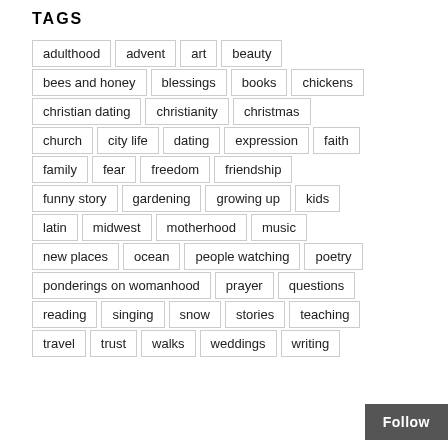TAGS
adulthood
advent
art
beauty
bees and honey
blessings
books
chickens
christian dating
christianity
christmas
church
city life
dating
expression
faith
family
fear
freedom
friendship
funny story
gardening
growing up
kids
latin
midwest
motherhood
music
new places
ocean
people watching
poetry
ponderings on womanhood
prayer
questions
reading
singing
snow
stories
teaching
travel
trust
walks
weddings
writing